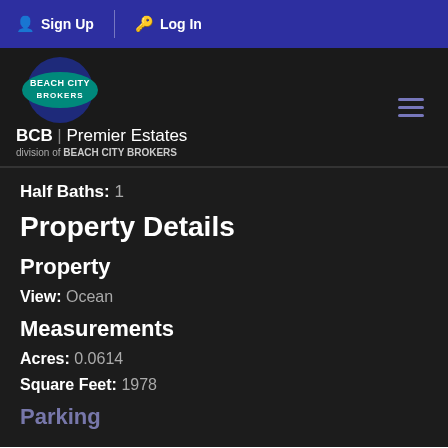Sign Up  Log In
[Figure (logo): Beach City Brokers logo with BCB Premier Estates branding]
Half Baths:  1
Property Details
Property
View:  Ocean
Measurements
Acres:  0.0614
Square Feet:  1978
Parking